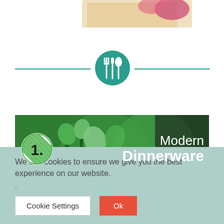[Figure (photo): Partial view of a food/product image at the top of the page, cropped]
[Figure (illustration): Teal decorative divider with a circular fork-and-spoon icon in the center and horizontal lines extending left and right]
[Figure (photo): Green banner with plants/garden background showing number 1 badge and text 'Modern Dinnerware']
We use cookies to ensure we give you the best experience on our website.
.
Cookie Settings | Ok